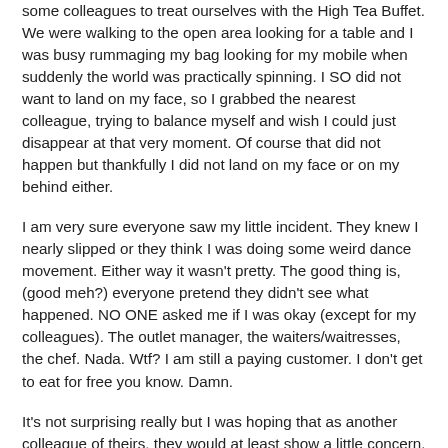some colleagues to treat ourselves with the High Tea Buffet. We were walking to the open area looking for a table and I was busy rummaging my bag looking for my mobile when suddenly the world was practically spinning. I SO did not want to land on my face, so I grabbed the nearest colleague, trying to balance myself and wish I could just disappear at that very moment. Of course that did not happen but thankfully I did not land on my face or on my behind either.
I am very sure everyone saw my little incident. They knew I nearly slipped or they think I was doing some weird dance movement. Either way it wasn't pretty. The good thing is, (good meh?) everyone pretend they didn't see what happened. NO ONE asked me if I was okay (except for my colleagues). The outlet manager, the waiters/waitresses, the chef. Nada. Wtf? I am still a paying customer. I don't get to eat for free you know. Damn.
It's not surprising really but I was hoping that as another colleague of theirs, they would at least show a little concern. I did not expect them to call the ambulance or carry me to my seat. *sigh* I am very sure though if I were a hotel guest